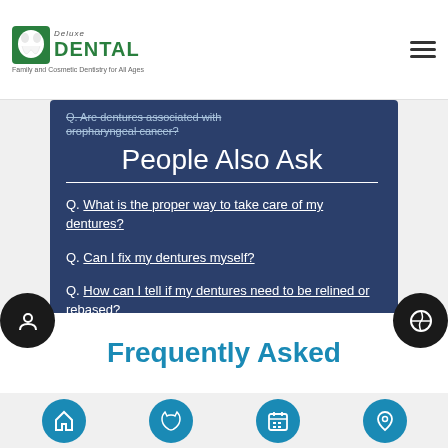Deluxe Dental — Family and Cosmetic Dentistry for All Ages
Q. Are dentures associated with oropharyngeal cancer?
People Also Ask
Q. What is the proper way to take care of my dentures?
Q. Can I fix my dentures myself?
Q. How can I tell if my dentures need to be relined or rebased?
Frequently Asked